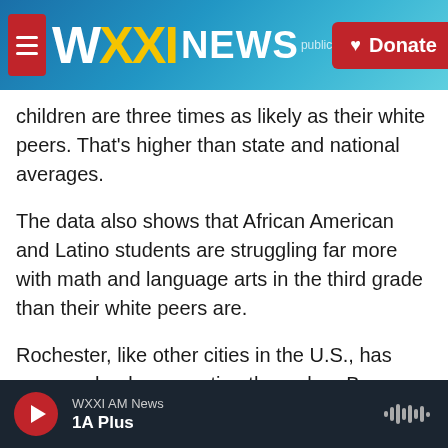[Figure (screenshot): WXXI News website header with logo, navigation menu icon, and red Donate button on blue background]
children are three times as likely as their white peers. That's higher than state and national averages.
The data also shows that African American and Latino students are struggling far more with math and language arts in the third grade than their white peers are.
Rochester, like other cities in the U.S., has worse school segregation than when Brown vs. the Board of Education was decided by the U.S. Supreme Court, said Jennifer Leonard, president and CEO of
WXXI AM News
1A Plus